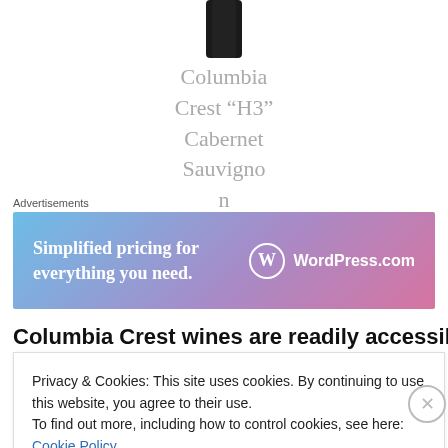[Figure (photo): Bottom portion of a dark wine bottle cropped at top of page]
Columbia Crest “H3” Cabernet Sauvignon
Advertisements
[Figure (other): WordPress.com advertisement banner: Simplified pricing for everything you need.]
Columbia Crest wines are readily accessible at many local
Privacy & Cookies: This site uses cookies. By continuing to use this website, you agree to their use.
To find out more, including how to control cookies, see here: Cookie Policy